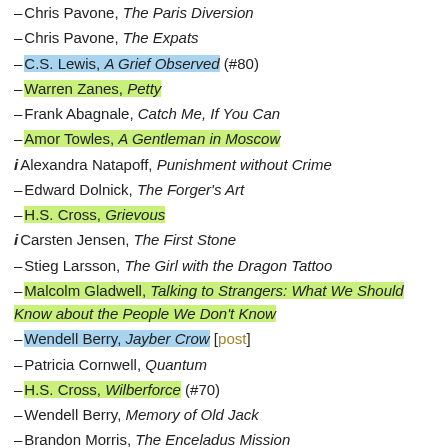– Chris Pavone, The Paris Diversion
– Chris Pavone, The Expats
– C.S. Lewis, A Grief Observed (#80) [highlighted blue]
– Warren Zanes, Petty [highlighted green]
– Frank Abagnale, Catch Me, If You Can
– Amor Towles, A Gentleman in Moscow [highlighted green]
i Alexandra Natapoff, Punishment without Crime
– Edward Dolnick, The Forger's Art
– H.S. Cross, Grievous [highlighted green]
i Carsten Jensen, The First Stone
– Stieg Larsson, The Girl with the Dragon Tattoo
– Malcolm Gladwell, Talking to Strangers: What We Should Know about the People We Don't Know [highlighted green]
– Wendell Berry, Jayber Crow [post] [highlighted blue]
– Patricia Cornwell, Quantum
– H.S. Cross, Wilberforce (#70) [highlighted green]
– Wendell Berry, Memory of Old Jack
– Brandon Morris, The Enceladus Mission
– [highlighted green, partially visible]